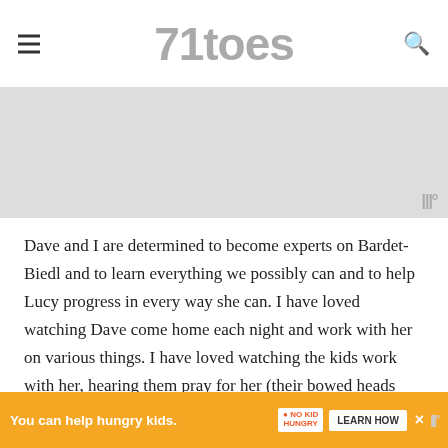71toes
[Figure (photo): A partial/cropped image placeholder with a watermark logo in the bottom right corner]
Dave and I are determined to become experts on Bardet-Biedl and to learn everything we possibly can and to help Lucy progress in every way she can. I have loved watching Dave come home each night and work with her on various things. I have loved watching the kids work with her, hearing them pray for her (their bowed heads sometimes coming up with teary eyes), listening to them talk about her.
One thing’s for sure: we couldn’t be more thankful to have this little girl in our family. We feel like we have been blessed and pr[…] makes our
You can help hungry kids. NO KID HUNGRY LEARN HOW